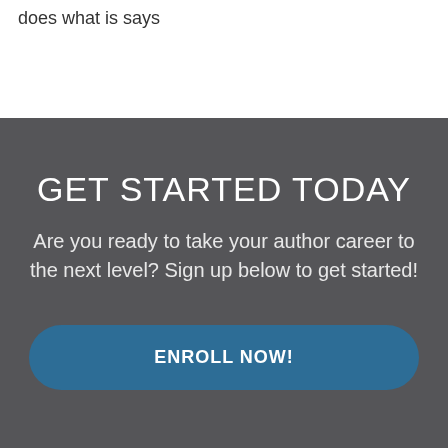does what is says
GET STARTED TODAY
Are you ready to take your author career to the next level? Sign up below to get started!
ENROLL NOW!